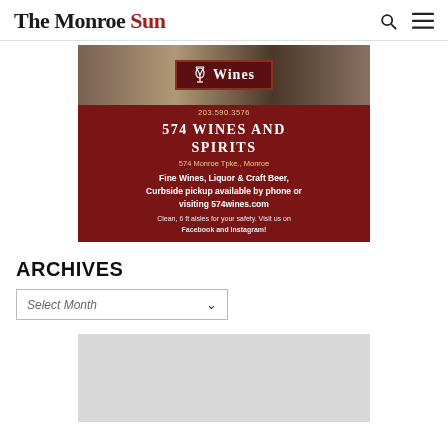The Monroe Sun
[Figure (photo): 574 Wines and Spirits advertisement. Dark red/maroon background with wine glass logo and store sign. Text reads: 574 WINES AND SPIRITS, 574 Monroe Tpke., Monroe, 203.590.3576, Fine Wines, Liquor & Craft Beer, Curbside pickup available by phone or visiting 574wines.com, Clean, 6 ft aisles for your safety. Visit us on Facebook and Instagram!]
ARCHIVES
Select Month
[Figure (other): Gray placeholder rectangle at bottom of page]